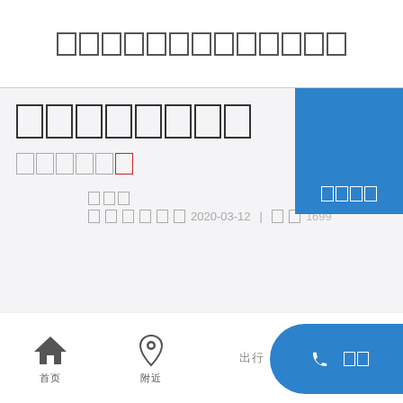□□□□□□□□□□□□□
□□□□□□□□
□□□□□ [red box]
□□□
□□□□□□2020-03-12 | □□1699
[Figure (other): Blue box with redacted text □□□□]
[Figure (infographic): Bottom navigation bar with home icon (首页), location icon (附近), text (出行), and phone call button (□□)]